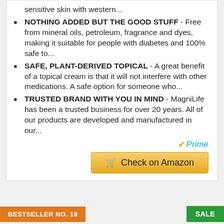sensitive skin with western...
NOTHING ADDED BUT THE GOOD STUFF - Free from mineral oils, petroleum, fragrance and dyes, making it suitable for people with diabetes and 100% safe to...
SAFE, PLANT-DERIVED TOPICAL - A great benefit of a topical cream is that it will not interfere with other medications. A safe option for someone who...
TRUSTED BRAND WITH YOU IN MIND - MagniLife has been a trusted business for over 20 years. All of our products are developed and manufactured in our...
[Figure (logo): Amazon Prime logo with checkmark and italic blue Prime text]
[Figure (other): Check on Amazon button - golden/yellow gradient button with cart icon]
BESTSELLER NO. 19
SALE